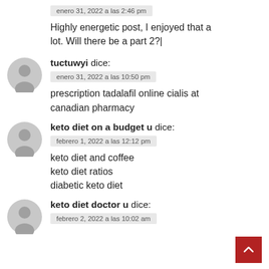enero 31, 2022 a las 2:46 pm
Highly energetic post, I enjoyed that a lot. Will there be a part 2?|
tuctuwyi dice:
enero 31, 2022 a las 10:50 pm
prescription tadalafil online cialis at canadian pharmacy
keto diet on a budget u dice:
febrero 1, 2022 a las 12:12 pm
keto diet and coffee
keto diet ratios
diabetic keto diet
keto diet doctor u dice:
febrero 2, 2022 a las 10:02 am